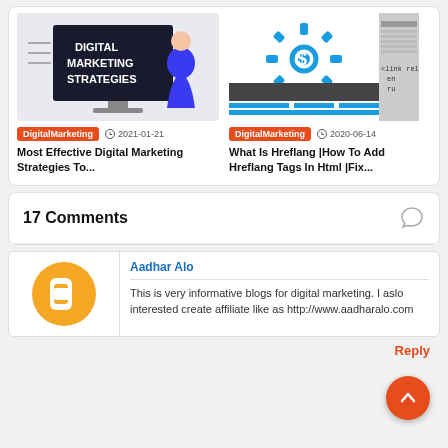[Figure (illustration): Digital marketing strategies illustration with monitor and person]
DigitalMarketing  2021-01-21
Most Effective Digital Marketing Strategies To...
[Figure (screenshot): Hreflang tags illustration with gear icon and code snippet showing link rel, en, ru]
DigitalMarketing  2020-06-14
What Is Hreflang |How To Add Hreflang Tags In Html |Fix...
17 Comments
Aadhar Alo
This is very informative blogs for digital marketing. I aslo interested create affiliate like as http://www.aadharalo.com
Reply